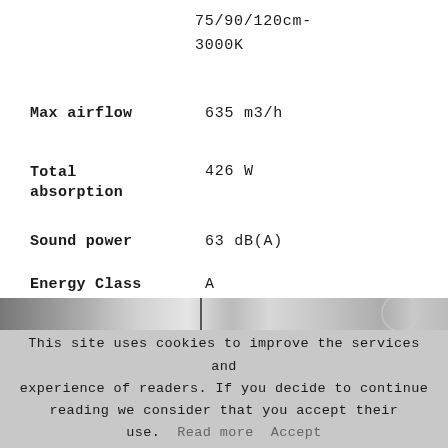75/90/120cm-
3000K
Max airflow   635 m3/h
Total absorption   426 W
Sound power   63 dB(A)
Energy Class   A
[Figure (photo): Partial view of a kitchen range hood or appliance, showing metallic/grey tones with a vertical divider]
This site uses cookies to improve the services and experience of readers. If you decide to continue reading we consider that you accept their use. Read more Accept